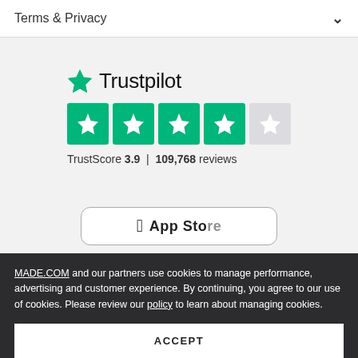Terms & Privacy
[Figure (logo): Trustpilot logo with green star and text 'Trustpilot', followed by 4 green star boxes and 1 gray star box. TrustScore 3.9 | 109,768 reviews]
[Figure (screenshot): Partially visible App Store button with Apple logo]
MADE.COM and our partners use cookies to manage performance, advertising and customer experience. By continuing, you agree to our use of cookies. Please review our policy to learn about managing cookies.
ACCEPT